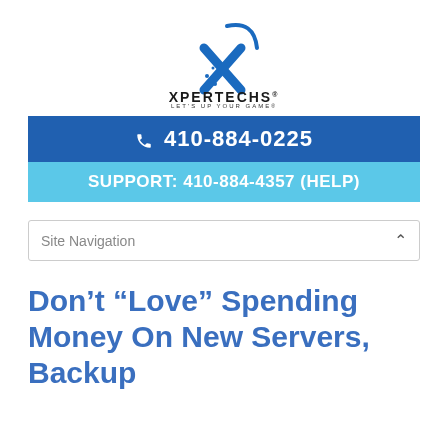[Figure (logo): Xpertechs logo with blue X and checkmark, company name XPERTECHS and tagline LET'S UP YOUR GAME]
410-884-0225
SUPPORT: 410-884-4357 (HELP)
Site Navigation
Don’t “Love” Spending Money On New Servers, Backup